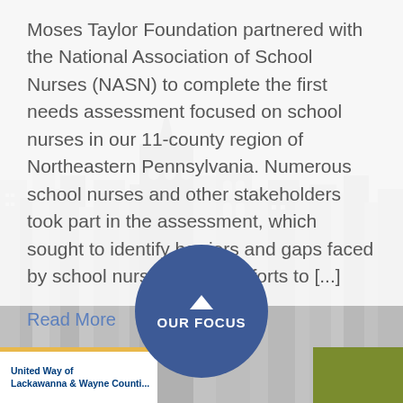Moses Taylor Foundation partnered with the National Association of School Nurses (NASN) to complete the first needs assessment focused on school nurses in our 11-county region of Northeastern Pennsylvania. Numerous school nurses and other stakeholders took part in the assessment, which sought to identify barriers and gaps faced by school nurses in their efforts to [...]
Read More
[Figure (illustration): Background cityscape/building silhouette illustration in light gray, faded behind white overlay]
OUR FOCUS
United Way of Lackawanna & Wayne Counti...